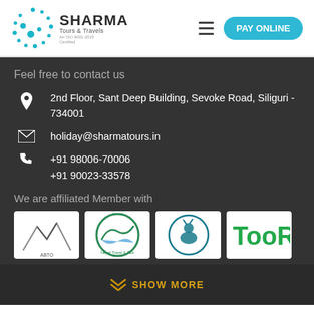[Figure (logo): Sharma Tours & Travels logo with teal dot circle pattern and company name]
[Figure (other): Hamburger menu icon (three horizontal lines)]
[Figure (other): PAY ONLINE button in teal rounded rectangle]
Feel free to contact us
2nd Floor, Sant Deep Building, Sevoke Road, Siliguri - 734001
holiday@sharmatours.in
+91 98006-70006
+91 90023-33578
We are affiliated Member with
[Figure (logo): Mountain/peaks logo (first affiliate)]
[Figure (logo): Nepal Travel & Tour Operators association logo (circular, blue-green mountain)]
[Figure (logo): Circular logo with deer/stag icon in teal]
[Figure (logo): TooR green text logo]
SHOW MORE